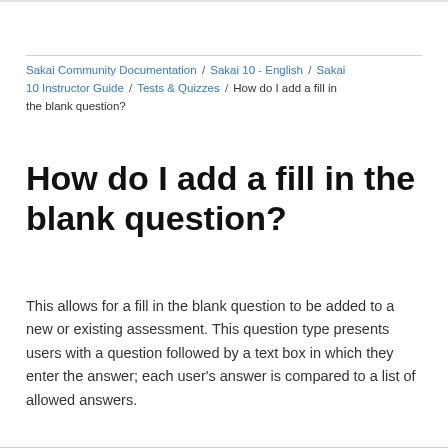Sakai Community Documentation / Sakai 10 - English / Sakai 10 Instructor Guide / Tests & Quizzes / How do I add a fill in the blank question?
How do I add a fill in the blank question?
This allows for a fill in the blank question to be added to a new or existing assessment. This question type presents users with a question followed by a text box in which they enter the answer; each user's answer is compared to a list of allowed answers.